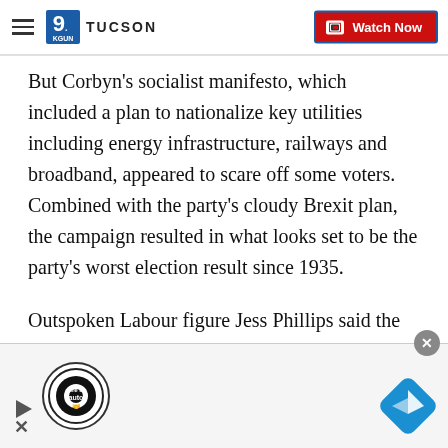9 TUCSON — Watch Now
But Corbyn's socialist manifesto, which included a plan to nationalize key utilities including energy infrastructure, railways and broadband, appeared to scare off some voters. Combined with the party's cloudy Brexit plan, the campaign resulted in what looks set to be the party's worst election result since 1935.
Outspoken Labour figure Jess Phillips said the anticipated big Conservative victory "feels like a punch in the stomach."
[Figure (screenshot): Advertisement bar at bottom with tire & auto logo and navigation app icon]